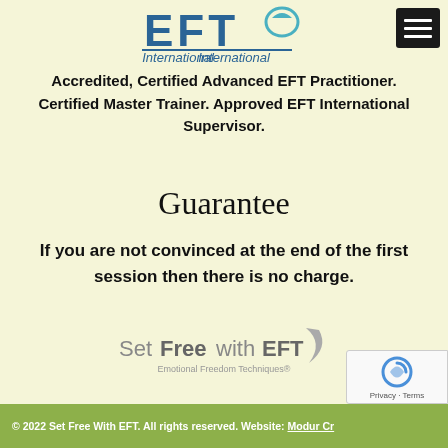[Figure (logo): EFT International logo with large letters EFT above the word International with a swoosh graphic, partially cropped at top]
[Figure (other): Black hamburger menu button in top right corner]
Accredited, Certified Advanced EFT Practitioner. Certified Master Trainer. Approved EFT International Supervisor.
Guarantee
If you are not convinced at the end of the first session then there is no charge.
[Figure (logo): Set Free with EFT logo with Emotional Freedom Techniques subtitle and swoosh graphic]
© 2022 Set Free With EFT. All rights reserved. Website: Modur Cr...